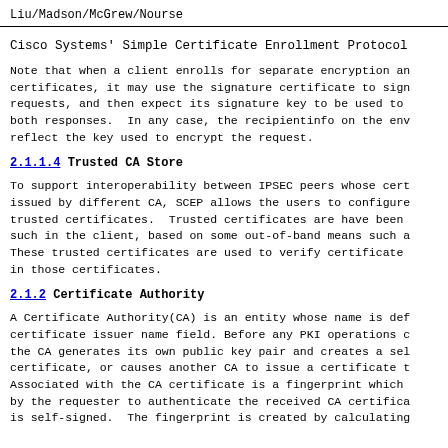Liu/Madson/McGrew/Nourse
Cisco Systems' Simple Certificate Enrollment Protocol
Note that when a client enrolls for separate encryption and certificates, it may use the signature certificate to sign requests, and then expect its signature key to be used to both responses.  In any case, the recipientinfo on the env reflect the key used to encrypt the request.
2.1.1.4 Trusted CA Store
To support interoperability between IPSEC peers whose cert issued by different CA, SCEP allows the users to configure trusted certificates.  Trusted certificates are have been such in the client, based on some out-of-band means such a These trusted certificates are used to verify certificate in those certificates.
2.1.2 Certificate Authority
A Certificate Authority(CA) is an entity whose name is def certificate issuer name field. Before any PKI operations c the CA generates its own public key pair and creates a sel certificate, or causes another CA to issue a certificate t Associated with the CA certificate is a fingerprint which by the requester to authenticate the received CA certifica is self-signed.  The fingerprint is created by calculating